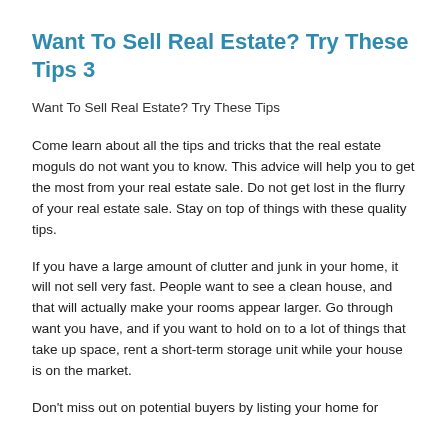Want To Sell Real Estate? Try These Tips 3
Want To Sell Real Estate? Try These Tips
Come learn about all the tips and tricks that the real estate moguls do not want you to know. This advice will help you to get the most from your real estate sale. Do not get lost in the flurry of your real estate sale. Stay on top of things with these quality tips.
If you have a large amount of clutter and junk in your home, it will not sell very fast. People want to see a clean house, and that will actually make your rooms appear larger. Go through want you have, and if you want to hold on to a lot of things that take up space, rent a short-term storage unit while your house is on the market.
Don't miss out on potential buyers by listing your home for